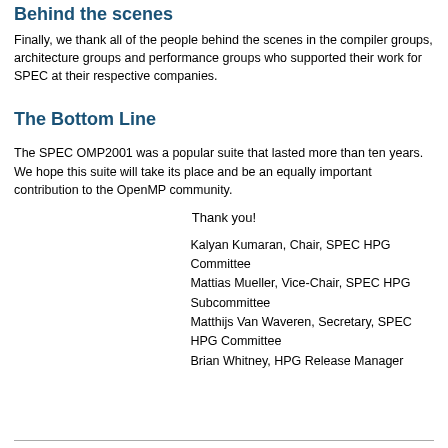Behind the scenes
Finally, we thank all of the people behind the scenes in the compiler groups, architecture groups and performance groups who supported their work for SPEC at their respective companies.
The Bottom Line
The SPEC OMP2001 was a popular suite that lasted more than ten years. We hope this suite will take its place and be an equally important contribution to the OpenMP community.
Thank you!
Kalyan Kumaran, Chair, SPEC HPG Committee
Mattias Mueller, Vice-Chair, SPEC HPG Subcommittee
Matthijs Van Waveren, Secretary, SPEC HPG Committee
Brian Whitney, HPG Release Manager